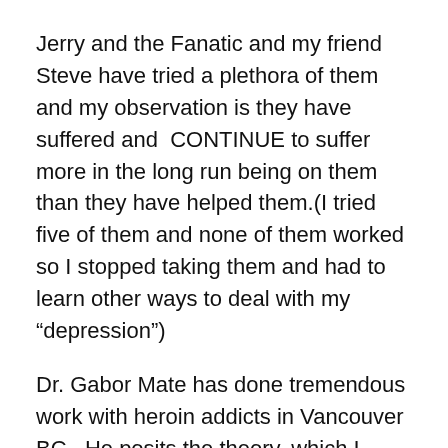Jerry and the Fanatic and my friend Steve have tried a plethora of them and my observation is they have suffered and CONTINUE to suffer more in the long run being on them than they have helped them.(I tried five of them and none of them worked so I stopped taking them and had to learn other ways to deal with my “depression”)
Dr. Gabor Mate has done tremendous work with heroin addicts in Vancouver BC. He posits the theory, which I agree with,(after hearing many men tell their stories)that it is trauma which is the cause of our suffering being manifested in the ways they do/did for people like Jerry and my Dad.
America, stop traumatizing your children. We are traumatized so much that we continue to watch trauma being expressed and abuse being acted out in our culture